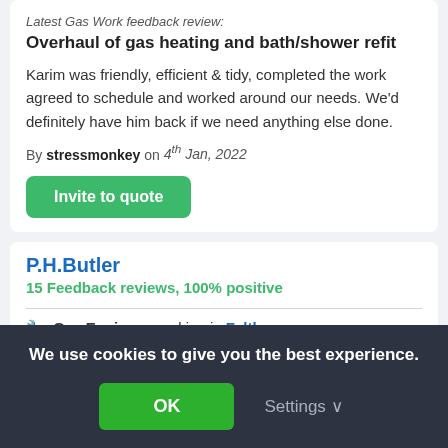Latest Gas Work feedback review:
Overhaul of gas heating and bath/shower refit
Karim was friendly, efficient & tidy, completed the work agreed to schedule and worked around our needs. We'd definitely have him back if we need anything else done.
By stressmonkey on 4th Jan, 2022
Invite to quote
P.H.Butler
15 Feedback reviews, 100% positive
Gas Engineer working in Feltham
We use cookies to give you the best experience.
OK
Settings